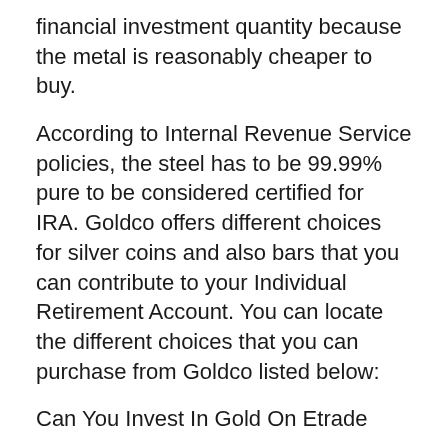financial investment quantity because the metal is reasonably cheaper to buy.
According to Internal Revenue Service policies, the steel has to be 99.99% pure to be considered certified for IRA. Goldco offers different choices for silver coins and also bars that you can contribute to your Individual Retirement Account. You can locate the different choices that you can purchase from Goldco listed below:
Can You Invest In Gold On Etrade
This company does not just help you in developing a new self-directed IRA. They additionally help you surrender a previous retirement account right into your new